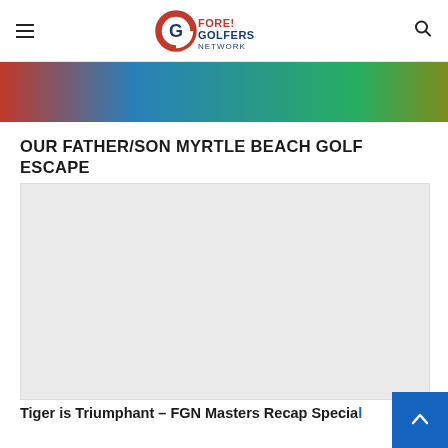FORE! GOLFERS NETWORK
[Figure (photo): Partial top strip of a photo showing colorful clothing or background — red, blue, green, and olive tones]
OUR FATHER/SON MYRTLE BEACH GOLF ESCAPE
[Figure (photo): Large light gray placeholder image area, likely an embedded video or main article photo]
Tiger is Triumphant – FGN Masters Recap Special